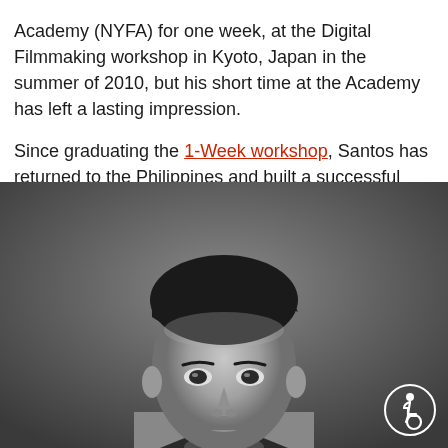Academy (NYFA) for one week, at the Digital Filmmaking workshop in Kyoto, Japan in the summer of 2010, but his short time at the Academy has left a lasting impression.
Since graduating the 1-Week workshop, Santos has returned to the Philippines and built a successful career as a professional filmmaker, working on numerous commercials and feature films. New York Film Academy spoke with Gino M. Santos soon after he attended an alumni reunion in Manila.
[Figure (photo): Black and white professional portrait photograph of a young Asian man with dark swept-back hair, looking directly at the camera. There is an accessibility icon (wheelchair symbol) in the bottom right corner of the image.]